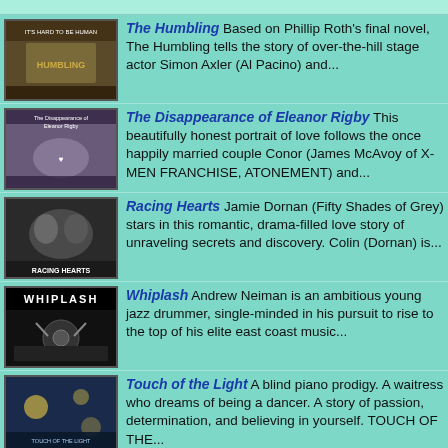The Humbling Based on Phillip Roth's final novel, The Humbling tells the story of over-the-hill stage actor Simon Axler (Al Pacino) and...
The Disappearance of Eleanor Rigby This beautifully honest portrait of love follows the once happily married couple Conor (James McAvoy of X-MEN FRANCHISE, ATONEMENT) and...
Racing Hearts Jamie Dornan (Fifty Shades of Grey) stars in this romantic, drama-filled love story of unraveling secrets and discovery. Colin (Dornan) is...
Whiplash Andrew Neiman is an ambitious young jazz drummer, single-minded in his pursuit to rise to the top of his elite east coast music...
Touch of the Light A blind piano prodigy. A waitress who dreams of being a dancer. A story of passion, determination, and believing in yourself. TOUCH OF THE...
The Hundred-Foot Journey Helen Mirren stars in a movie bursting with flavor, passion and heart. Worlds collide when a culinary ing...